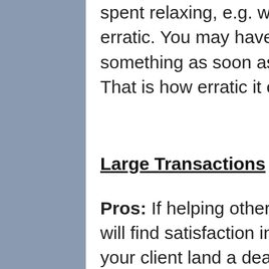spent relaxing, e.g. weekends. Your schedule will seem erratic. You may have to stop in the middle of something as soon as your client asks for your help. That is how erratic it can be.
Large Transactions
Pros: If helping other people is in your nature, then you will find satisfaction in knowing that you have helped your client land a deal that is of great value to them. In doing so, you are not only helping one party but three. You are helping the buyer, the seller,